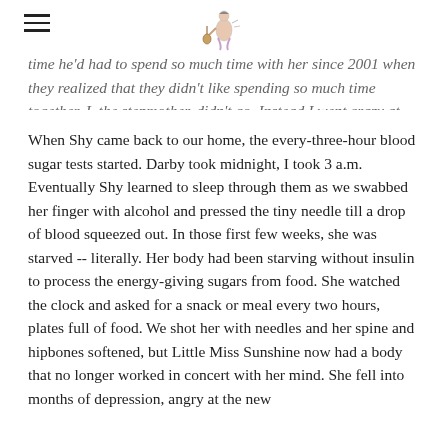[hamburger menu icon] [logo illustration]
time he'd had to spend so much time with her since 2001 when they realized that they didn't like spending so much time together. I, the stepmother, didn't go. Instead I went crazy at home wanting to see my sick kid who is another mother's kid.
When Shy came back to our home, the every-three-hour blood sugar tests started. Darby took midnight, I took 3 a.m. Eventually Shy learned to sleep through them as we swabbed her finger with alcohol and pressed the tiny needle till a drop of blood squeezed out. In those first few weeks, she was starved -- literally. Her body had been starving without insulin to process the energy-giving sugars from food. She watched the clock and asked for a snack or meal every two hours, plates full of food. We shot her with needles and her spine and hipbones softened, but Little Miss Sunshine now had a body that no longer worked in concert with her mind. She fell into months of depression, angry at the new